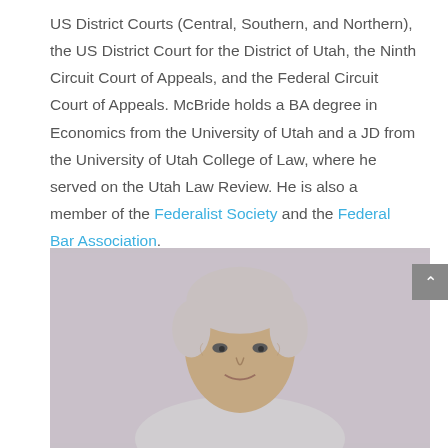US District Courts (Central, Southern, and Northern), the US District Court for the District of Utah, the Ninth Circuit Court of Appeals, and the Federal Circuit Court of Appeals. McBride holds a BA degree in Economics from the University of Utah and a JD from the University of Utah College of Law, where he served on the Utah Law Review. He is also a member of the Federalist Society and the Federal Bar Association.
[Figure (photo): Headshot photo of a middle-aged man with short gray/silver hair, light skin, looking at the camera against a light gray background.]